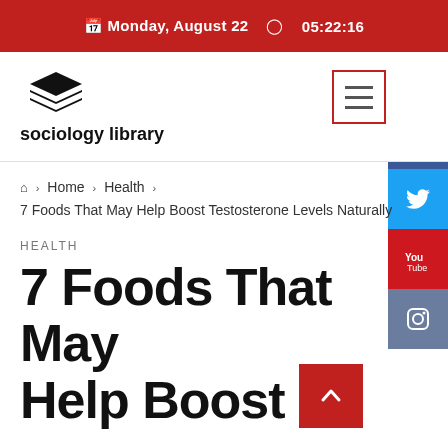Monday, August 22  05:22:16
[Figure (logo): Sociology Library logo with stacked book pages icon and bold text 'sociology library']
Home › Health › 7 Foods That May Help Boost Testosterone Levels Naturally
HEALTH
7 Foods That May Help Boost